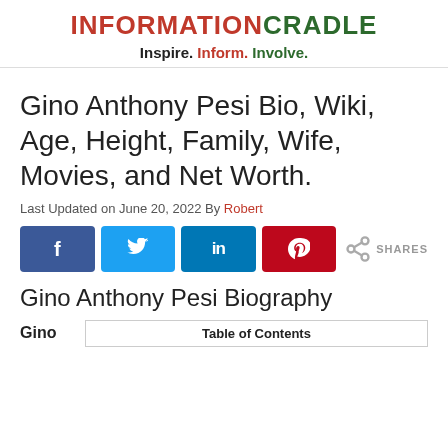INFORMATIONCRADLE — Inspire. Inform. Involve.
Gino Anthony Pesi Bio, Wiki, Age, Height, Family, Wife, Movies, and Net Worth.
Last Updated on June 20, 2022 By Robert
[Figure (infographic): Social share buttons: Facebook, Twitter, LinkedIn, Pinterest, and a share icon with SHARES label]
Gino Anthony Pesi Biography
Gino
| Table of Contents |
| --- |